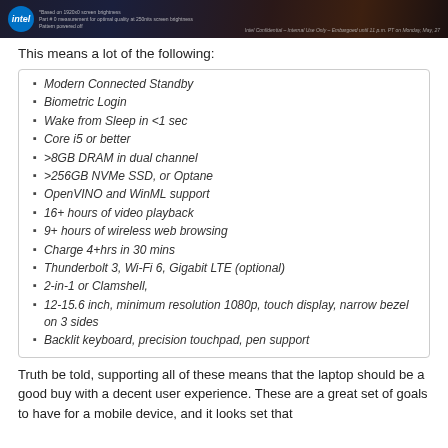[Figure (screenshot): Intel presentation slide header with dark background showing Intel logo and confidential watermark text]
This means a lot of the following:
Modern Connected Standby
Biometric Login
Wake from Sleep in <1 sec
Core i5 or better
>8GB DRAM in dual channel
>256GB NVMe SSD, or Optane
OpenVINO and WinML support
16+ hours of video playback
9+ hours of wireless web browsing
Charge 4+hrs in 30 mins
Thunderbolt 3, Wi-Fi 6, Gigabit LTE (optional)
2-in-1 or Clamshell,
12-15.6 inch, minimum resolution 1080p, touch display, narrow bezel on 3 sides
Backlit keyboard, precision touchpad, pen support
Truth be told, supporting all of these means that the laptop should be a good buy with a decent user experience. These are a great set of goals to have for a mobile device, and it looks set that